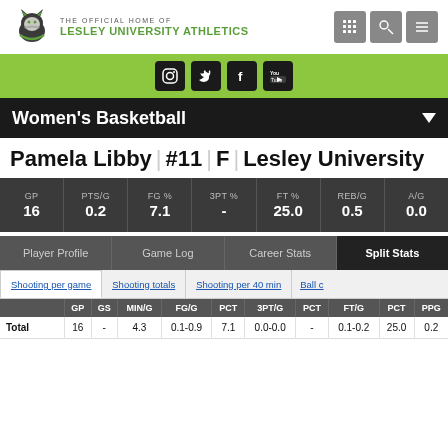THE OFFICIAL HOME OF LESLEY UNIVERSITY ATHLETICS
Pamela Libby | #11 | F | Lesley University
| GP | PTS/G | FG % | 3PT % | FT % | REB/G | A/G |
| --- | --- | --- | --- | --- | --- | --- |
| 16 | 0.2 | 7.1 | - | 25.0 | 0.5 | 0.0 |
Women's Basketball
|  | GP | GS | MIN/G | FG/G | PCT | 3PT/G | PCT | FT/G | PCT | PPG |
| --- | --- | --- | --- | --- | --- | --- | --- | --- | --- | --- |
| Total | 16 | - | 4.3 | 0.1-0.9 | 7.1 | 0.0-0.0 | - | 0.1-0.2 | 25.0 | 0.2 |